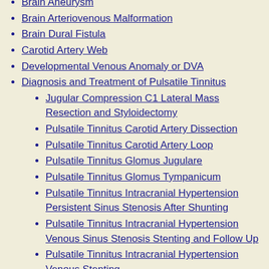Brain Aneurysm
Brain Arteriovenous Malformation
Brain Dural Fistula
Carotid Artery Web
Developmental Venous Anomaly or DVA
Diagnosis and Treatment of Pulsatile Tinnitus
Jugular Compression C1 Lateral Mass Resection and Styloidectomy
Pulsatile Tinnitus Carotid Artery Dissection
Pulsatile Tinnitus Carotid Artery Loop
Pulsatile Tinnitus Glomus Jugulare
Pulsatile Tinnitus Glomus Tympanicum
Pulsatile Tinnitus Intracranial Hypertension Persistent Sinus Stenosis After Shunting
Pulsatile Tinnitus Intracranial Hypertension Venous Sinus Stenosis Stenting and Follow Up
Pulsatile Tinnitus Intracranial Hypertension Venous Stenting
Pulsatile Tinnitus Jugular Plate Dehiscence